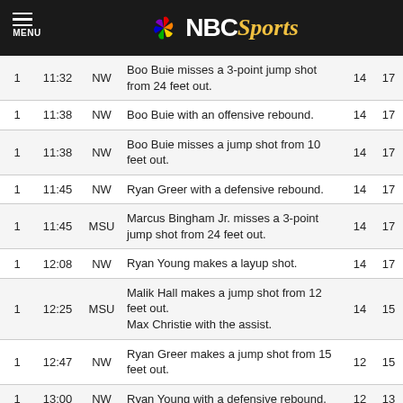NBC Sports
| Q | Time | Team | Description | S1 | S2 |
| --- | --- | --- | --- | --- | --- |
| 1 | 11:32 | NW | Boo Buie misses a 3-point jump shot from 24 feet out. | 14 | 17 |
| 1 | 11:38 | NW | Boo Buie with an offensive rebound. | 14 | 17 |
| 1 | 11:38 | NW | Boo Buie misses a jump shot from 10 feet out. | 14 | 17 |
| 1 | 11:45 | NW | Ryan Greer with a defensive rebound. | 14 | 17 |
| 1 | 11:45 | MSU | Marcus Bingham Jr. misses a 3-point jump shot from 24 feet out. | 14 | 17 |
| 1 | 12:08 | NW | Ryan Young makes a layup shot. | 14 | 17 |
| 1 | 12:25 | MSU | Malik Hall makes a jump shot from 12 feet out. Max Christie with the assist. | 14 | 15 |
| 1 | 12:47 | NW | Ryan Greer makes a jump shot from 15 feet out. | 12 | 15 |
| 1 | 13:00 | NW | Ryan Young with a defensive rebound. | 12 | 13 |
| 1 | 13:00 | MSU | Jaden Akins misses a 3-point jump shot from 25 feet out. | 12 | 13 |
| 1 | 13:21 | NW | Ryan Greer makes a layup shot. | 12 | 13 |